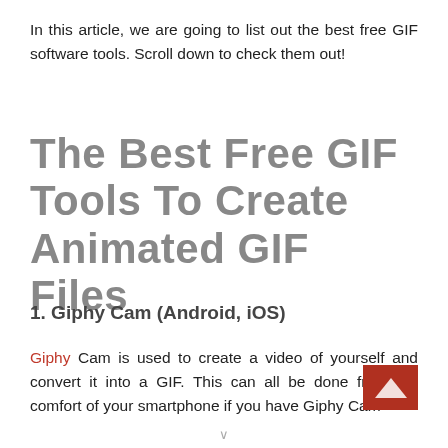In this article, we are going to list out the best free GIF software tools. Scroll down to check them out!
The Best Free GIF Tools To Create Animated GIF Files
1. Giphy Cam (Android, iOS)
Giphy Cam is used to create a video of yourself and convert it into a GIF. This can all be done from the comfort of your smartphone if you have Giphy Cam…